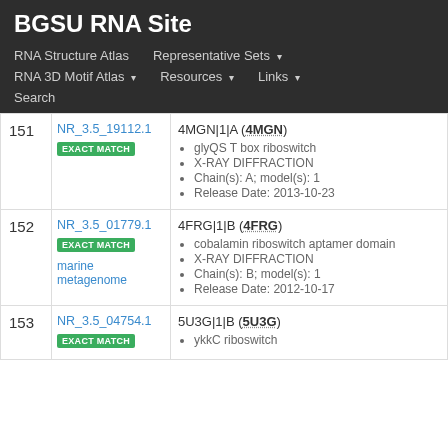BGSU RNA Site
RNA Structure Atlas | Representative Sets ▾ | RNA 3D Motif Atlas ▾ | Resources ▾ | Links ▾ | Search
| # | ID / Match | Entry Details |
| --- | --- | --- |
| 151 | NR_3.5_19112.1 [EXACT MATCH] | 4MGN|1|A (4MGN) • glyQS T box riboswitch • X-RAY DIFFRACTION • Chain(s): A; model(s): 1 • Release Date: 2013-10-23 |
| 152 | NR_3.5_01779.1 [EXACT MATCH] marine metagenome | 4FRG|1|B (4FRG) • cobalamin riboswitch aptamer domain • X-RAY DIFFRACTION • Chain(s): B; model(s): 1 • Release Date: 2012-10-17 |
| 153 | NR_3.5_04754.1 [EXACT MATCH] | 5U3G|1|B (5U3G) • ykkC riboswitch |